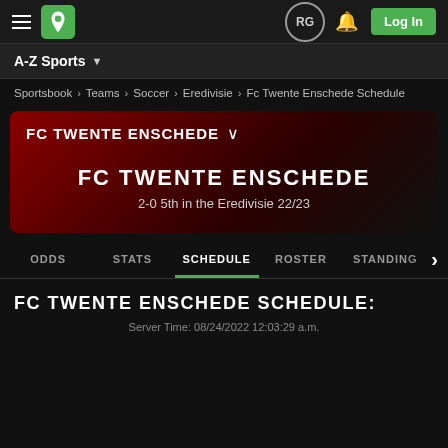A-Z Sports
Sportsbook › Teams › Soccer › Eredivisie › Fc Twente Enschede Schedule
FC TWENTE ENSCHEDE
2-0 5th in the Eredivisie 22/23
ODDS  STATS  SCHEDULE  ROSTER  STANDINGS
FC TWENTE ENSCHEDE SCHEDULE:
Server Time: 08/24/2022 12:03:29 a.m.